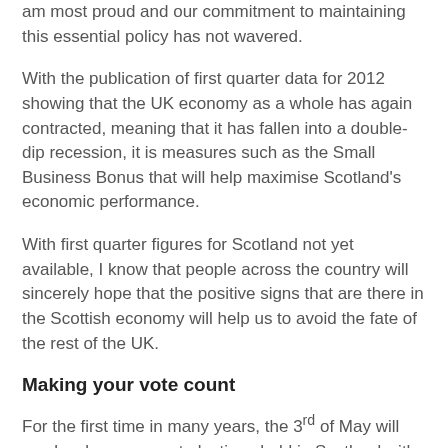am most proud and our commitment to maintaining this essential policy has not wavered.
With the publication of first quarter data for 2012 showing that the UK economy as a whole has again contracted, meaning that it has fallen into a double-dip recession, it is measures such as the Small Business Bonus that will help maximise Scotland's economic performance.
With first quarter figures for Scotland not yet available, I know that people across the country will sincerely hope that the positive signs that are there in the Scottish economy will help us to avoid the fate of the rest of the UK.
Making your vote count
For the first time in many years, the 3rd of May will see local government elections held in Scotland with no other elections taking place at the same time. After the large number of spoilt ballot papers in the 2007 elections, making sure that council elections take place on a separate date was one of the key recommendations that were made by the inquiry that was subsequently held into what had happened.